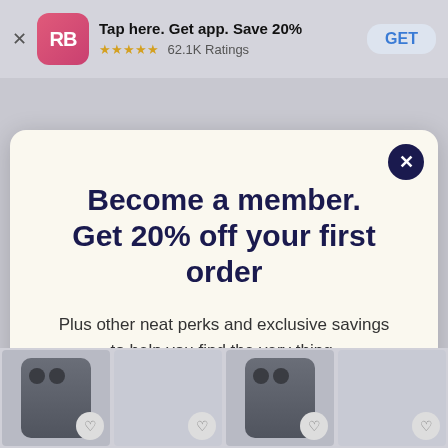Tap here. Get app. Save 20% ★★★★★ 62.1K Ratings GET
[Figure (screenshot): Modal popup with confetti background showing membership signup offer]
Become a member. Get 20% off your first order
Plus other neat perks and exclusive savings to help you find the very thing.
Sign up
Already a Member? Log In